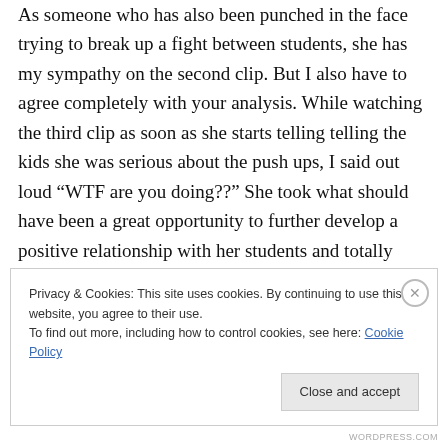As someone who has also been punched in the face trying to break up a fight between students, she has my sympathy on the second clip. But I also have to agree completely with your analysis. While watching the third clip as soon as she starts telling telling the kids she was serious about the push ups, I said out loud “WTF are you doing??” She took what should have been a great opportunity to further develop a positive relationship with her students and totally flushed it down the toilet.
Privacy & Cookies: This site uses cookies. By continuing to use this website, you agree to their use.
To find out more, including how to control cookies, see here: Cookie Policy